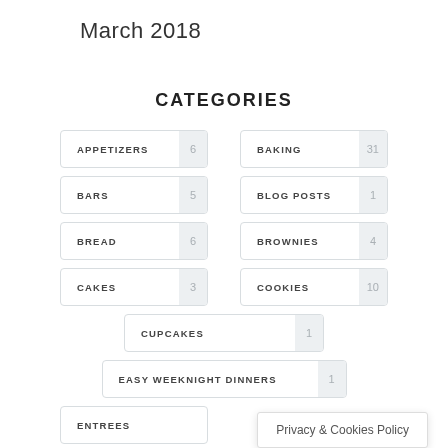March 2018
CATEGORIES
APPETIZERS 6
BAKING 31
BARS 5
BLOG POSTS 1
BREAD 6
BROWNIES 4
CAKES 3
COOKIES 10
CUPCAKES 1
EASY WEEKNIGHT DINNERS 1
ENTREES
Privacy & Cookies Policy